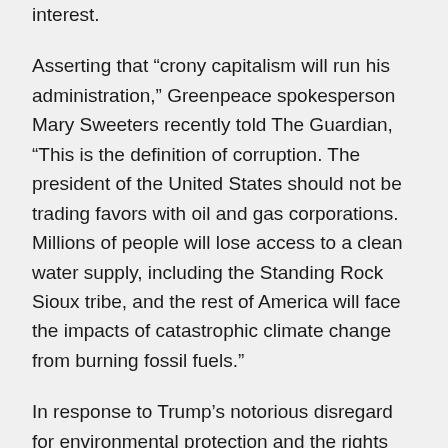interest.
Asserting that “crony capitalism will run his administration,” Greenpeace spokesperson Mary Sweeters recently told The Guardian, “This is the definition of corruption. The president of the United States should not be trading favors with oil and gas corporations. Millions of people will lose access to a clean water supply, including the Standing Rock Sioux tribe, and the rest of America will face the impacts of catastrophic climate change from burning fossil fuels.”
In response to Trump’s notorious disregard for environmental protection and the rights